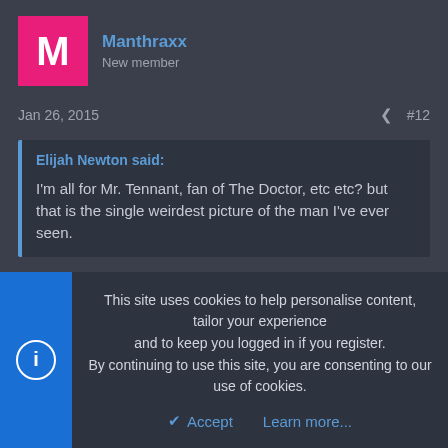[Figure (other): Pink square avatar with white letter M for user Manthraxx]
Manthraxx
New member
Jan 26, 2015  #12
Elijah Newton said:

I'm all for Mr. Tennant, fan of The Doctor, etc etc? but that is the single weirdest picture of the man I've ever seen.
I was wondering why nobody had noticed it yet
[Figure (other): Orange square avatar with white letter A for user Albino Boo]
Albino Boo
This site uses cookies to help personalise content, tailor your experience and to keep you logged in if you register.
By continuing to use this site, you are consenting to our use of cookies.
Accept   Learn more...